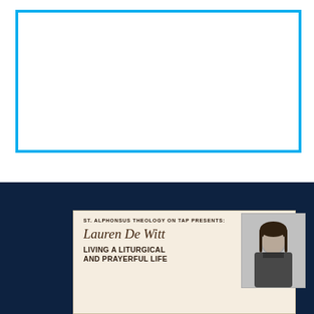[Figure (other): White rectangular area with a cyan/light blue border box outline in the upper portion of the page]
[Figure (illustration): Dark navy blue background section with an event flyer card. The card has a parchment/cream background and reads: 'ST. ALPHONSUS THEOLOGY ON TAP PRESENTS:' in bold uppercase, then 'Lauren De Witt' in cursive script, then 'LIVING A LITURGICAL AND PRAYERFUL LIFE' in bold uppercase. A black and white photo of a woman (Lauren De Witt) with long dark hair is on the right side of the card.]